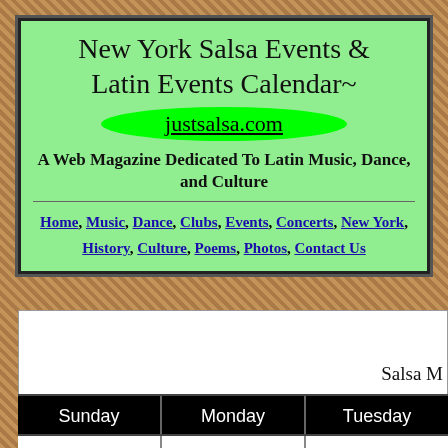New York Salsa Events & Latin Events Calendar~
justsalsa.com
A Web Magazine Dedicated To Latin Music, Dance, and Culture
Home, Music, Dance, Clubs, Events, Concerts, New York, History, Culture, Poems, Photos, Contact Us
Salsa M... Updated May 11, 2013 ~ New...
| Sunday | Monday | Tuesday |
| --- | --- | --- |
|  |  |  |